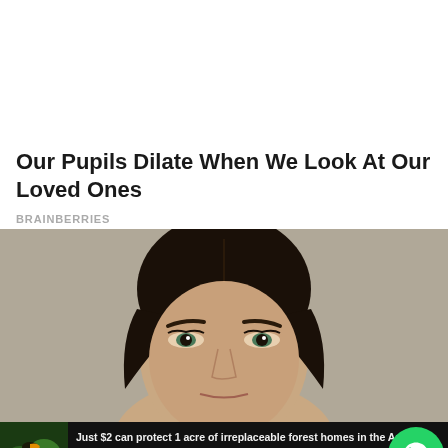Our Pupils Dilate When We Look At Our Loved Ones
BRAINBERRIES
[Figure (photo): Close-up portrait of a young woman with dark hair pulled back, looking to the side, against a beige/grey background]
[Figure (infographic): Advertisement banner: Just $2 can protect 1 acre of irreplaceable forest homes in the Amazon. How many acres are you willing to protect? PROTECT FORESTS NOW]
[Figure (logo): WhatsApp green circle button icon]